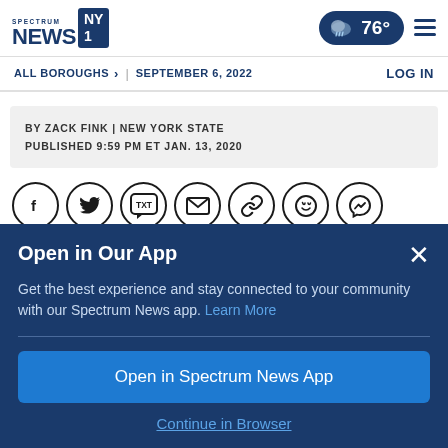[Figure (logo): Spectrum News NY1 logo]
[Figure (infographic): Weather pill showing rainy cloud icon and 76 degrees, plus hamburger menu]
ALL BOROUGHS > | SEPTEMBER 6, 2022    LOG IN
BY ZACK FINK | NEW YORK STATE
PUBLISHED 9:59 PM ET JAN. 13, 2020
[Figure (infographic): Social share icons: Facebook, Twitter, Text message, Email, Link, WhatsApp, Messenger]
Open in Our App
Get the best experience and stay connected to your community with our Spectrum News app. Learn More
Open in Spectrum News App
Continue in Browser